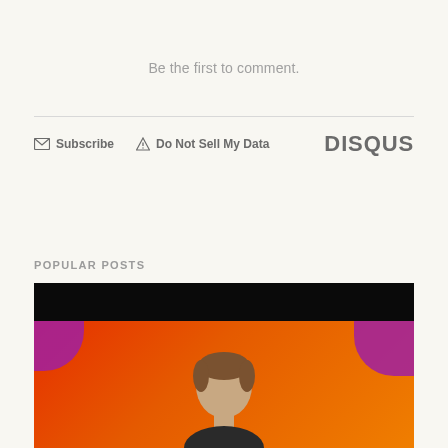Be the first to comment.
Subscribe   Do Not Sell My Data   DISQUS
POPULAR POSTS
[Figure (photo): A person on a colorful red/orange/purple stage background with a dark top bar, partially cropped — popular posts thumbnail image]